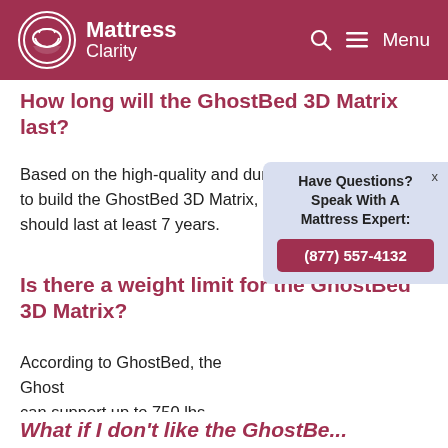Mattress Clarity
How long will the GhostBed 3D Matrix last?
Based on the high-quality and durable materials used to build the GhostBed 3D Matrix, we think this mattress should last at least 7 years.
Is there a weight limit for the GhostBed 3D Matrix?
According to GhostBed, the Ghost... can support up to 750 lbs. when y... strong foundation to support the...
[Figure (infographic): Chat popup widget: 'Have Questions? Speak With A Mattress Expert:' with phone number (877) 557-4132]
What if I don't like the GhostBed...